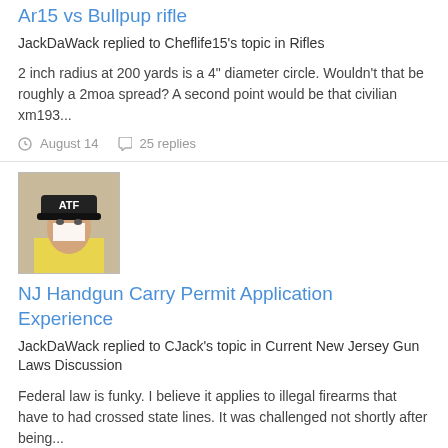Ar15 vs Bullpup rifle
JackDaWack replied to Cheflife15's topic in Rifles
2 inch radius at 200 yards is a 4" diameter circle. Wouldn't that be roughly a 2moa spread? A second point would be that civilian xm193...
August 14   25 replies
[Figure (photo): Avatar image of user with ATF cap]
NJ Handgun Carry Permit Application Experience
JackDaWack replied to CJack's topic in Current New Jersey Gun Laws Discussion
Federal law is funky. I believe it applies to illegal firearms that have to had crossed state lines. It was challenged not shortly after being...
August 13   1,579 replies
[Figure (photo): Avatar image of user with ATF cap]
NJ Handgun Carry Permit Application Experience